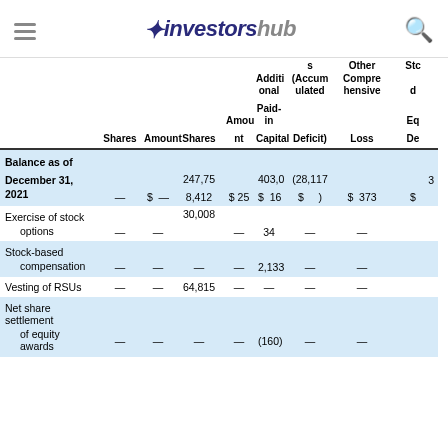investorshub
|  | Shares | Amount | Shares | Amount | Additional Paid-in Capital | s (Accumulated Deficit) | Other Comprehensive Loss | Stockholders Equity |
| --- | --- | --- | --- | --- | --- | --- | --- | --- |
| Balance as of |  |  |  |  |  |  |  |  |
| December 31, 2021 | — | $  — | 247,758,412 | $  25 | $  403,016 | $ (28,117) | $  373 | $ |
| Exercise of stock options | — | — | 30,008 | — | 34 | — | — |  |
| Stock-based compensation | — | — | — | — | 2,133 | — | — |  |
| Vesting of RSUs | — | — | 64,815 | — | — | — | — |  |
| Net share settlement of equity awards | — | — | — | — | (160) | — | — |  |